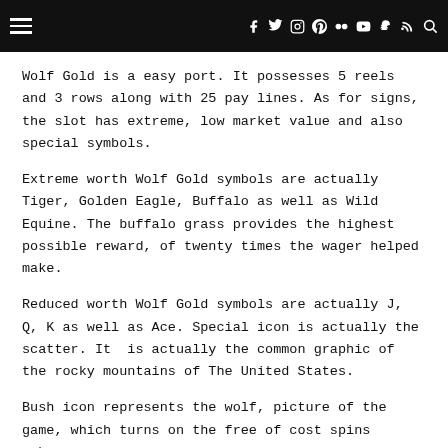Navigation header with hamburger menu and social icons
Wolf Gold is a easy port. It possesses 5 reels and 3 rows along with 25 pay lines. As for signs, the slot has extreme, low market value and also special symbols.
Extreme worth Wolf Gold symbols are actually Tiger, Golden Eagle, Buffalo as well as Wild Equine. The buffalo grass provides the highest possible reward, of twenty times the wager helped make.
Reduced worth Wolf Gold symbols are actually J, Q, K as well as Ace. Special icon is actually the scatter. It is actually the common graphic of the rocky mountains of The United States.
Bush icon represents the wolf, picture of the game, which turns on the free of cost spins spheres.